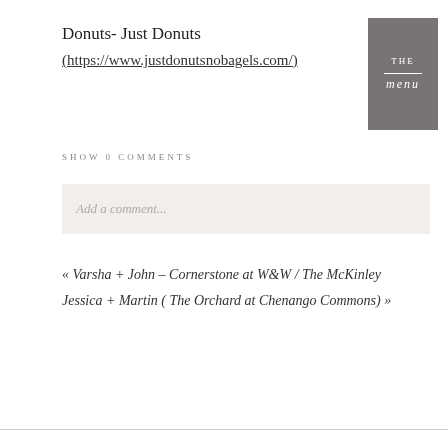Donuts- Just Donuts (https://www.justdonutsnobagels.com/)
[Figure (logo): Gray box with 'THE menu' text and a horizontal rule, serving as a site logo/branding element]
SHOW 0 COMMENTS
Add a comment...
« Varsha + John – Cornerstone at W&W / The McKinley
Jessica + Martin ( The Orchard at Chenango Commons) »